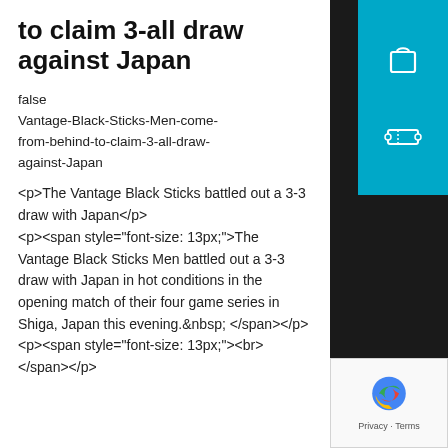to claim 3-all draw against Japan
false
Vantage-Black-Sticks-Men-come-from-behind-to-claim-3-all-draw-against-Japan
<p>The Vantage Black Sticks battled out a 3-3 draw with Japan</p>
<p><span style="font-size: 13px;">The Vantage Black Sticks Men battled out a 3-3 draw with Japan in hot conditions in the opening match of their four game series in Shiga, Japan this evening.&nbsp;</span></p>
<p><span style="font-size: 13px;"><br></span></p>